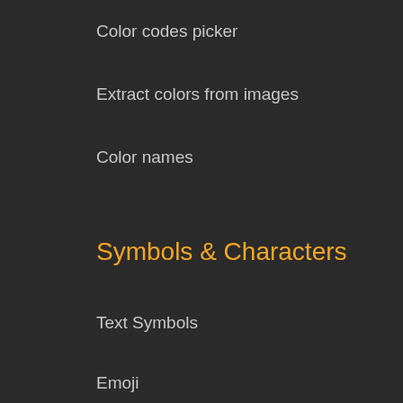Color codes picker
Extract colors from images
Color names
Symbols & Characters
Text Symbols
Emoji
Emoticons
Words
Words counter
Words scrambler
Tech Stuff